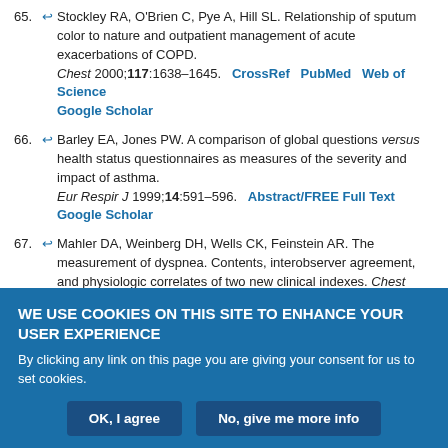65. Stockley RA, O'Brien C, Pye A, Hill SL. Relationship of sputum color to nature and outpatient management of acute exacerbations of COPD. Chest 2000;117:1638–1645. CrossRef PubMed Web of Science Google Scholar
66. Barley EA, Jones PW. A comparison of global questions versus health status questionnaires as measures of the severity and impact of asthma. Eur Respir J 1999;14:591–596. Abstract/FREE Full Text Google Scholar
67. Mahler DA, Weinberg DH, Wells CK, Feinstein AR. The measurement of dyspnea. Contents, interobserver agreement, and physiologic correlates of two new clinical indexes. Chest 1984;85:751–758. CrossRef PubMed Web of Science Google Scholar
WE USE COOKIES ON THIS SITE TO ENHANCE YOUR USER EXPERIENCE
By clicking any link on this page you are giving your consent for us to set cookies.